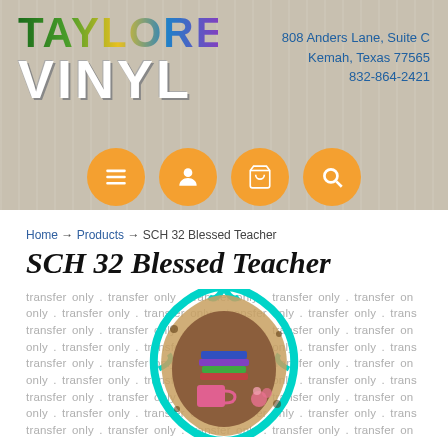[Figure (logo): Taylored Vinyl logo with colorful TAYLORED text and white VINYL text on wood-grain background]
808 Anders Lane, Suite C
Kemah, Texas 77565
832-864-2421
[Figure (infographic): Four orange circular navigation icons: menu (hamburger), user/person, shopping cart, and search/magnifying glass]
Home → Products → SCH 32 Blessed Teacher
SCH 32 Blessed Teacher
[Figure (illustration): Blessed Teacher design with teal ornate frame, leopard print border, stacked colorful books, coffee cup, floral elements on wood background. Watermark text 'transfer only' repeated in background.]